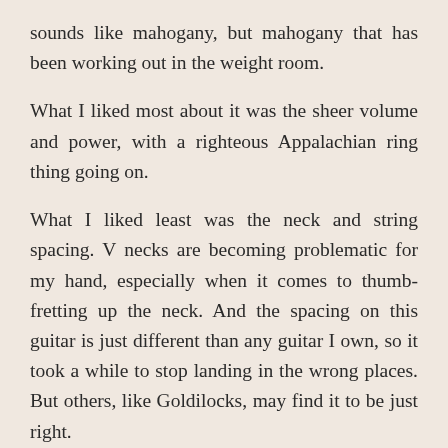sounds like mahogany, but mahogany that has been working out in the weight room.
What I liked most about it was the sheer volume and power, with a righteous Appalachian ring thing going on.
What I liked least was the neck and string spacing. V necks are becoming problematic for my hand, especially when it comes to thumb-fretting up the neck. And the spacing on this guitar is just different than any guitar I own, so it took a while to stop landing in the wrong places. But others, like Goldilocks, may find it to be just right.
The bottom line: I have played sinker mahogany guitars by other makers. All have been exceptional and this one stands out as well. It is a beauty, easy on the eyes and